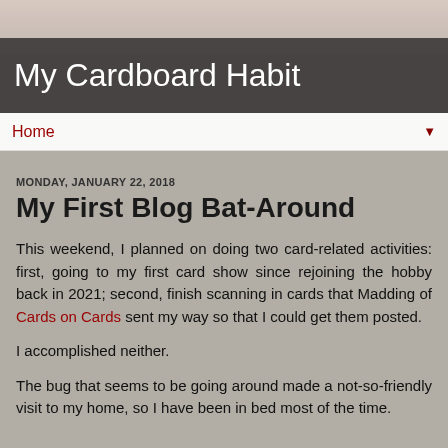My Cardboard Habit
Home
MONDAY, JANUARY 22, 2018
My First Blog Bat-Around
This weekend, I planned on doing two card-related activities: first, going to my first card show since rejoining the hobby back in 2021; second, finish scanning in cards that Madding of Cards on Cards sent my way so that I could get them posted.
I accomplished neither.
The bug that seems to be going around made a not-so-friendly visit to my home, so I have been in bed most of the time.